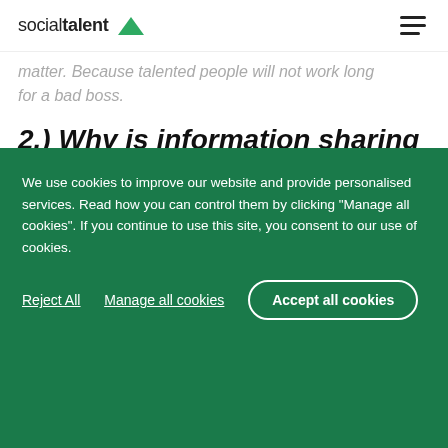socialtalent [logo]
matter. Because talented people will not work long for a bad boss.
2.) Why is information sharing so critical to retention?
Knowledge is power. Unless people really are “in the know” about their organization and their resources, they can’t contribute fully. And this means a...
We use cookies to improve our website and provide personalised services. Read how you can control them by clicking “Manage all cookies”. If you continue to use this site, you consent to our use of cookies.
Reject All   Manage all cookies   Accept all cookies